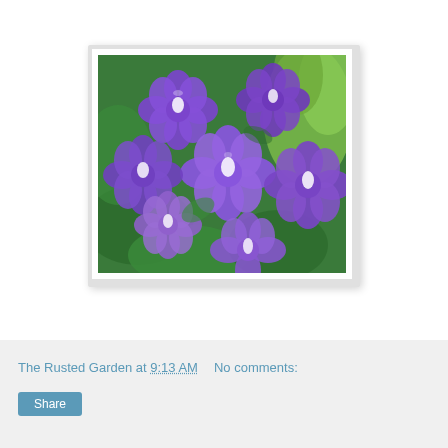[Figure (photo): Close-up photograph of purple verbena or similar flowers with green leaves, blooming densely. Flowers are violet-purple with white centers.]
The Rusted Garden at 9:13 AM    No comments:
Share